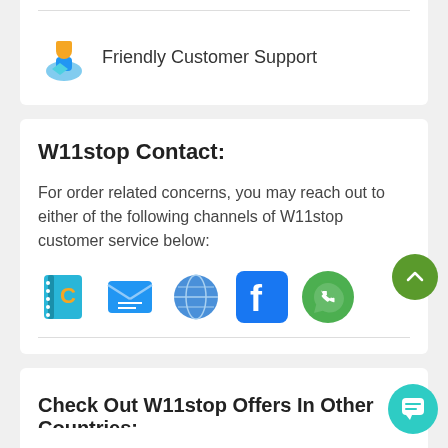[Figure (illustration): Icon of customer support - blue figure with hand]
Friendly Customer Support
W11stop Contact:
For order related concerns, you may reach out to either of the following channels of W11stop customer service below:
[Figure (illustration): Row of contact channel icons: phone book, email, globe/web, Facebook, WhatsApp]
Check Out W11stop Offers In Other Countries: